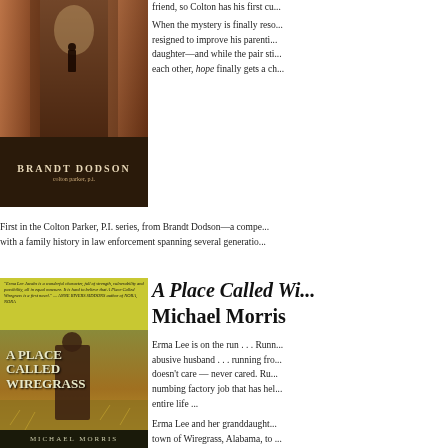[Figure (photo): Book cover for a Brandt Dodson novel showing a dark corridor with a figure in the distance]
friend, so Colton has his first cu...
When the mystery is finally reso... resigned to improve his parenti... daughter—and while the pair sti... each other, hope finally gets a ch...
First in the Colton Parker, P.I. series, from Brandt Dodson—a compe... with a family history in law enforcement spanning several generatio...
[Figure (photo): Book cover for 'A Place Called Wiregrass' by Michael Morris showing a woman in a field]
A Place Called Wi... Michael Morris
Erma Lee is on the run . . . Runn... abusive husband . . . running fro... doesn't care — never cared. Ru... numbing factory job that has hel... entire life ...
Erma Lee and her granddaught... town of Wiregrass, Alabama, to ... start over — or so Erma Lee thi... forms an unlikely friendship wit...